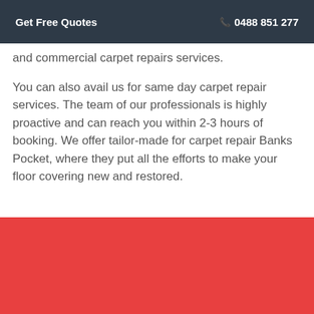Get Free Quotes  ☎ 0488 851 277
and commercial carpet repairs services.
You can also avail us for same day carpet repair services. The team of our professionals is highly proactive and can reach you within 2-3 hours of booking. We offer tailor-made for carpet repair Banks Pocket, where they put all the efforts to make your floor covering new and restored.